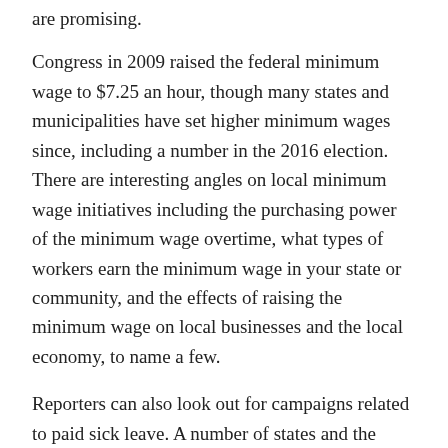are promising.
Congress in 2009 raised the federal minimum wage to $7.25 an hour, though many states and municipalities have set higher minimum wages since, including a number in the 2016 election. There are interesting angles on local minimum wage initiatives including the purchasing power of the minimum wage overtime, what types of workers earn the minimum wage in your state or community, and the effects of raising the minimum wage on local businesses and the local economy, to name a few.
Reporters can also look out for campaigns related to paid sick leave. A number of states and the District of Columbia mandate employers offer paid sick time for their employees.